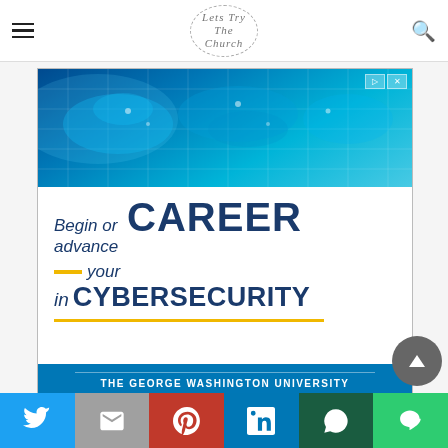Lets Try The Church — site header with hamburger menu and search icon
[Figure (screenshot): Advertisement banner for The George Washington University cybersecurity program. Top half shows a blue world map/digital globe graphic. Bottom half on white background reads: 'Begin or advance your CAREER in CYBERSECURITY' with gold accent lines. Footer: 'THE GEORGE WASHINGTON UNIVERSITY, WASHINGTON, DC']
Social sharing bar with Twitter, Gmail, Pinterest, LinkedIn, WhatsApp, Line buttons